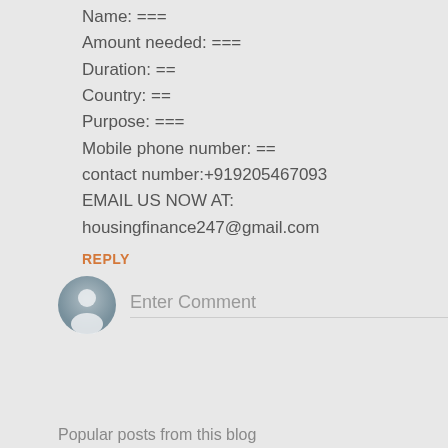Name: ===
Amount needed: ===
Duration: ==
Country: ==
Purpose: ===
Mobile phone number: ==
contact number:+919205467093
EMAIL US NOW AT:
housingfinance247@gmail.com
REPLY
Enter Comment
Popular posts from this blog